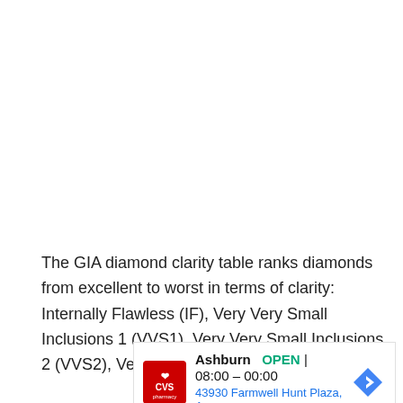The GIA diamond clarity table ranks diamonds from excellent to worst in terms of clarity: Internally Flawless (IF), Very Very Small Inclusions 1 (VVS1), Very Very Small Inclusions 2 (VVS2), Very Small Inclusions 1 (VS1), Very
[Figure (other): CVS Pharmacy advertisement showing store location in Ashburn, OPEN 08:00 - 00:00, address 43930 Farmwell Hunt Plaza, As..., with navigation arrow icon and ad controls (play/close buttons)]